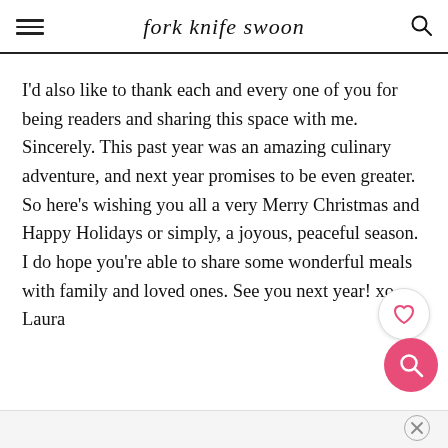fork knife swoon
I'd also like to thank each and every one of you for being readers and sharing this space with me. Sincerely. This past year was an amazing culinary adventure, and next year promises to be even greater. So here's wishing you all a very Merry Christmas and Happy Holidays or simply, a joyous, peaceful season. I do hope you're able to share some wonderful meals with family and loved ones. See you next year! xo, Laura